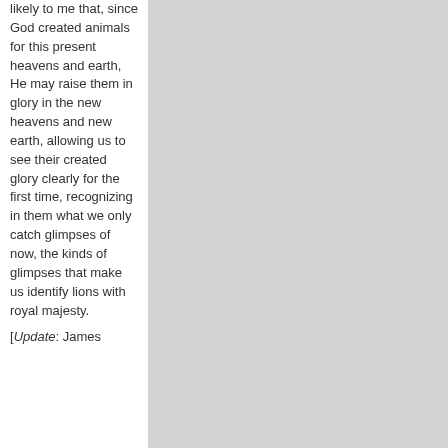likely to me that, since God created animals for this present heavens and earth, He may raise them in glory in the new heavens and new earth, allowing us to see their created glory clearly for the first time, recognizing in them what we only catch glimpses of now, the kinds of glimpses that make us identify lions with royal majesty.
[Update: James